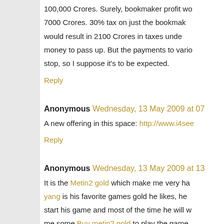100,000 Crores. Surely, bookmaker profit wo... 7000 Crores. 30% tax on just the bookma... would result in 2100 Crores in taxes unde... money to pass up. But the payments to vari... stop, so I suppose it's to be expected.
Reply
Anonymous Wednesday, 13 May 2009 at 07...
A new offering in this space: http://www.i4see...
Reply
Anonymous Wednesday, 13 May 2009 at 13...
It is the Metin2 gold which make me very ha... yang is his favorite games gold he likes, he... start his game and most of the time he will w... me some Buy metin2 gold to play the game.